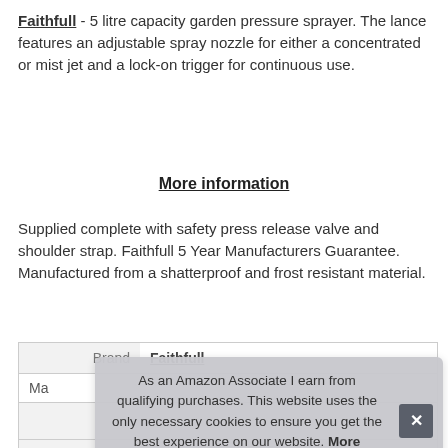Faithfull - 5 litre capacity garden pressure sprayer. The lance features an adjustable spray nozzle for either a concentrated or mist jet and a lock-on trigger for continuous use.
More information
Supplied complete with safety press release valve and shoulder strap. Faithfull 5 Year Manufacturers Guarantee. Manufactured from a shatterproof and frost resistant material.
|  |  |
| --- | --- |
| Brand | Faithfull |
| Ma |  |
|  |  |
| Weight | 1.2 kg (2.65 Pounds) |
As an Amazon Associate I earn from qualifying purchases. This website uses the only necessary cookies to ensure you get the best experience on our website. More information